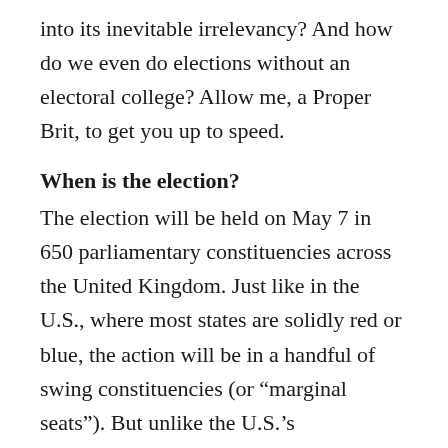into its inevitable irrelevancy? And how do we even do elections without an electoral college? Allow me, a Proper Brit, to get you up to speed.
When is the election?
The election will be held on May 7 in 650 parliamentary constituencies across the United Kingdom. Just like in the U.S., where most states are solidly red or blue, the action will be in a handful of swing constituencies (or “marginal seats”). But unlike the U.S.’s constitutionally separated powers, our executive is part of the legislature. So voters aren’t voting for one of the seven party leaders—they’re electing members of parliament (MPs) in their constituency. Whichever party gets a majority of members in parliament forms a government, and its